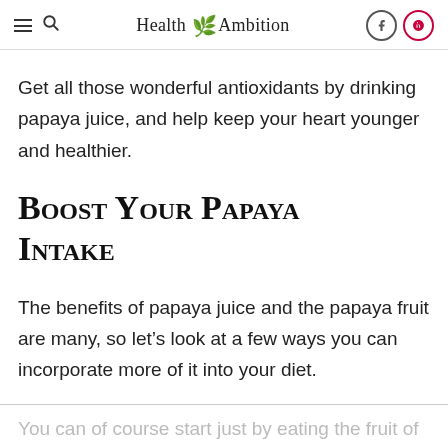Health Ambition
Get all those wonderful antioxidants by drinking papaya juice, and help keep your heart younger and healthier.
Boost Your Papaya Intake
The benefits of papaya juice and the papaya fruit are many, so let’s look at a few ways you can incorporate more of it into your diet.
You can of course start just by eating the fruit of the